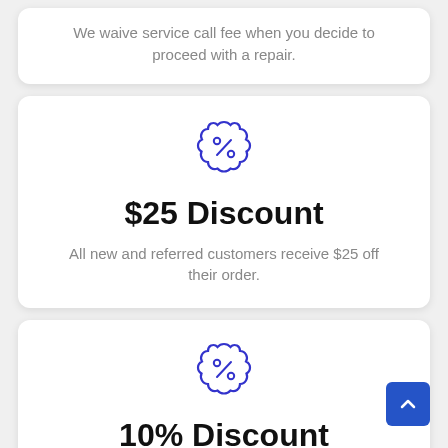We waive service call fee when you decide to proceed with a repair.
[Figure (illustration): Discount badge icon with percent symbol, blue outline]
$25 Discount
All new and referred customers receive $25 off their order.
[Figure (illustration): Discount badge icon with percent symbol, blue outline]
10% Discount